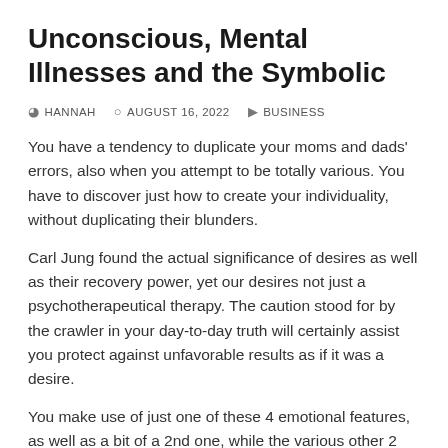Unconscious, Mental Illnesses and the Symbolic
HANNAH   AUGUST 16, 2022   BUSINESS
You have a tendency to duplicate your moms and dads' errors, also when you attempt to be totally various. You have to discover just how to create your individuality, without duplicating their blunders.
Carl Jung found the actual significance of desires as well as their recovery power, yet our desires not just a psychotherapeutical therapy. The caution stood for by the crawler in your day-to-day truth will certainly assist you protect against unfavorable results as if it was a desire.
You make use of just one of these 4 emotional features, as well as a bit of a 2nd one, while the various other 2 come from your wild side in the psychological darkness and right...